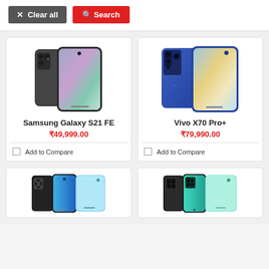[Figure (screenshot): Clear all and Search buttons toolbar]
[Figure (photo): Samsung Galaxy S21 FE product image showing two phones]
Samsung Galaxy S21 FE
₹49,999.00
Add to Compare
[Figure (photo): Vivo X70 Pro+ product image showing two phones in blue]
Vivo X70 Pro+
₹79,990.00
Add to Compare
[Figure (photo): Bottom left phone product partially visible]
[Figure (photo): Bottom right phone product partially visible]